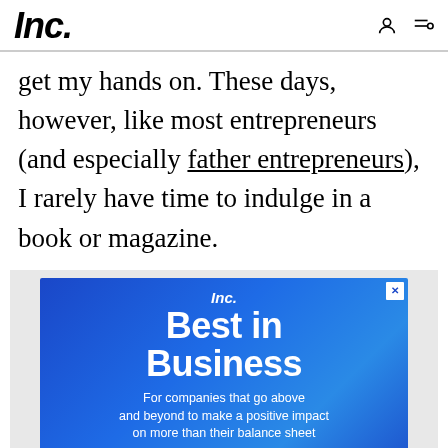Inc.
get my hands on. These days, however, like most entrepreneurs (and especially father entrepreneurs), I rarely have time to indulge in a book or magazine.
[Figure (advertisement): Inc. Best in Business advertisement. Blue gradient background. Text reads: Inc. Best in Business. For companies that go above and beyond to make a positive impact on more than their balance sheet. Footer bar with Inc. Best in Business logo, Deadline: 9/1, and Apply Now button.]